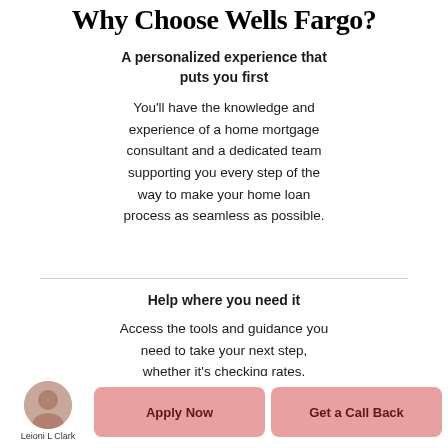Why Choose Wells Fargo?
A personalized experience that puts you first
You'll have the knowledge and experience of a home mortgage consultant and a dedicated team supporting you every step of the way to make your home loan process as seamless as possible.
Help where you need it
Access the tools and guidance you need to take your next step, whether it's checking rates, calculating what you can afford, or getting preapproved to help you shop with confidence.
[Figure (photo): Circular avatar photo of Leioni L Clark]
Leioni L Clark
Apply Now
Get a Call Back